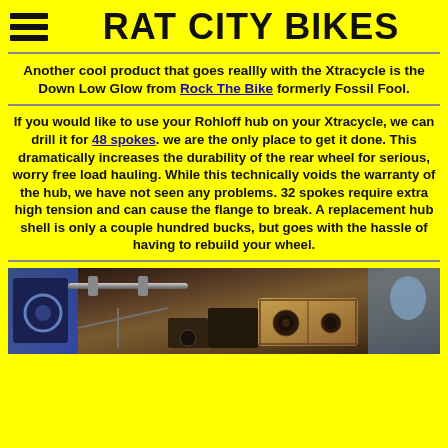RAT CITY BIKES
Another cool product that goes reallly with the Xtracycle is the Down Low Glow from Rock The Bike formerly Fossil Fool.
If you would like to use your Rohloff hub on your Xtracycle, we can drill it for 48 spokes. we are the only place to get it done. This dramatically increases the durability of the rear wheel for serious, worry free load hauling. While this technically voids the warranty of the hub, we have not seen any problems. 32 spokes require extra high tension and can cause the flange to break. A replacement hub shell is only a couple hundred bucks, but goes with the hassle of having to rebuild your wheel.
[Figure (photo): Photo of bicycles and equipment at what appears to be a bike shop or event, showing handlebars, wooden box, and various bike accessories]